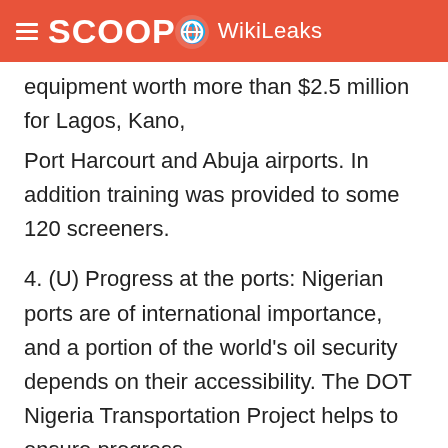SCOOP WikiLeaks
equipment worth more than $2.5 million for Lagos, Kano,
Port Harcourt and Abuja airports. In addition training was provided to some 120 screeners.
4. (U) Progress at the ports: Nigerian ports are of international importance, and a portion of the world's oil security depends on their accessibility. The DOT Nigeria Transportation Project helps to ensure progress in security, stability and liberalization at the ports. Thus far, achievements include:
-- Full port security and environmental assessment,
-- Training courses for more than 150 Nigerian Port